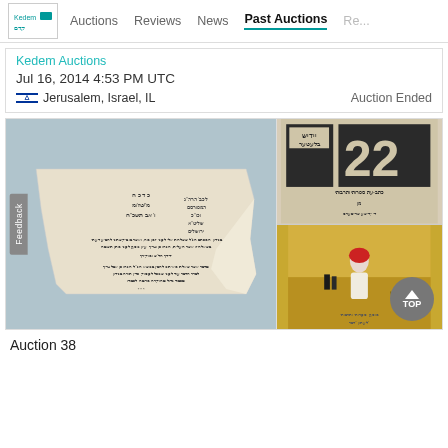Auctions   Reviews   News   Past Auctions   Re...
Kedem Auctions
Jul 16, 2014 4:53 PM UTC
Jerusalem, Israel, IL   Auction Ended
[Figure (photo): Three images: left - a torn Hebrew document/letter; top right - black and white Hebrew newspaper or poster with large number 22; bottom right - colorful vintage poster No. 6 with a woman in red headscarf in a desert scene]
Auction 38